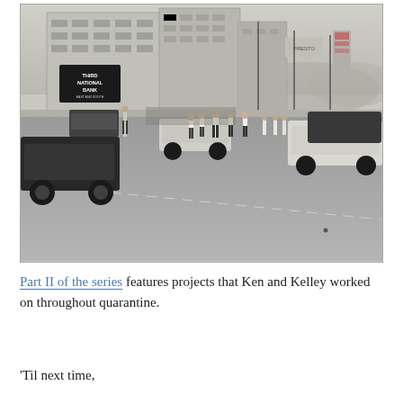[Figure (photo): Black and white vintage photograph of a busy downtown street scene. Several people in white shirts are standing in the middle of a wide street. Buildings including Third National Bank are visible on the left side. Cars from the 1960s era line the street. The background shows more commercial buildings and signage.]
Part II of the series features projects that Ken and Kelley worked on throughout quarantine.
'Til next time,